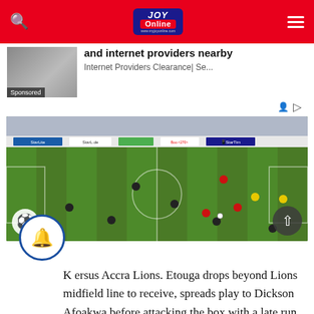JOY Online
[Figure (screenshot): Advertisement banner showing 'and internet providers nearby' with a car image labeled Sponsored, from Internet Providers Clearance]
and internet providers nearby
Internet Providers Clearance| Se...
[Figure (photo): Aerial view of a football/soccer match on a green pitch with multiple players, stadium advertising boards visible]
K[bell icon]ersus Accra Lions. Etouga drops beyond Lions midfield line to receive, spreads play to Dickson Afoakwa before attacking the box with a late run. He